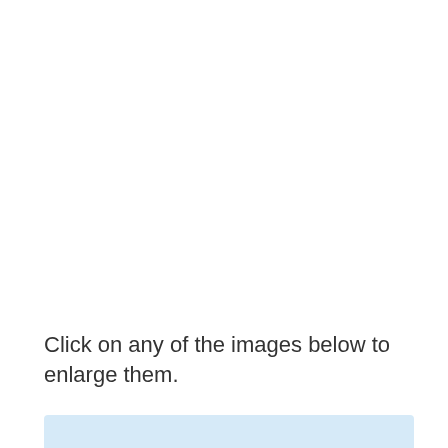Click on any of the images below to enlarge them.
[Figure (other): Light blue box partially visible at bottom of page, containing text beginning with 'Find...']